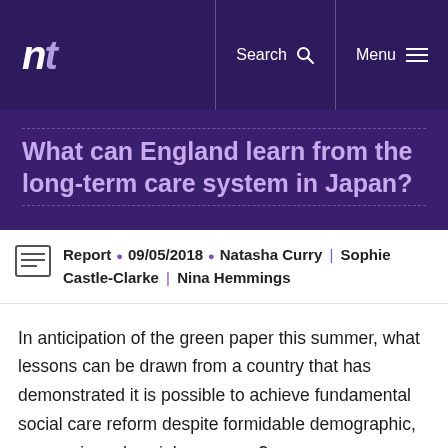nt | Search | Menu
What can England learn from the long-term care system in Japan?
Report • 09/05/2018 • Natasha Curry | Sophie Castle-Clarke | Nina Hemmings
In anticipation of the green paper this summer, what lessons can be drawn from a country that has demonstrated it is possible to achieve fundamental social care reform despite formidable demographic, economic and social pressures?